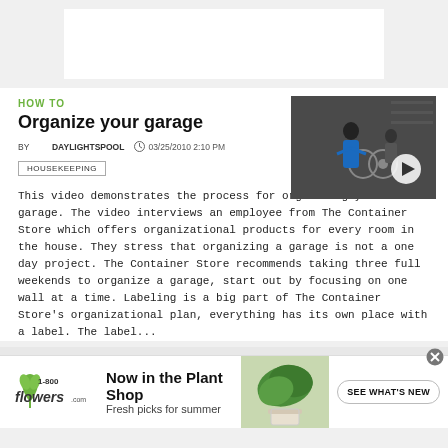[Figure (other): White banner/ad placeholder at top of page]
HOW TO
Organize your garage
BY DAYLIGHTSPOOL  03/25/2010 2:10 PM
HOUSEKEEPING
[Figure (screenshot): Video thumbnail showing people in a garage with a play button overlay]
This video demonstrates the process for organizing your garage. The video interviews an employee from The Container Store which offers organizational products for every room in the house. They stress that organizing a garage is not a one day project. The Container Store recommends taking three full weekends to organize a garage, start out by focusing on one wall at a time. Labeling is a big part of The Container Store's organizational plan, everything has its own place with a label. The label...
[Figure (other): 1-800-flowers.com advertisement banner: Now in the Plant Shop - Fresh picks for summer. SEE WHAT'S NEW button. Photo of green plant.]